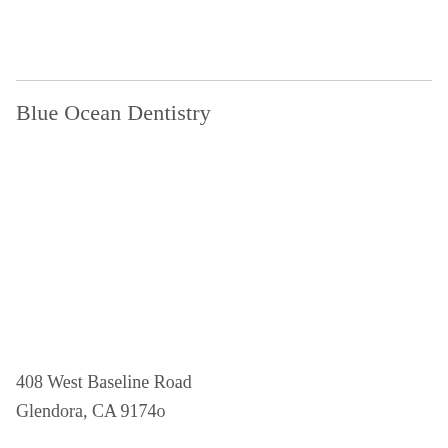Blue Ocean Dentistry
408 West Baseline Road
Glendora, CA 9174o